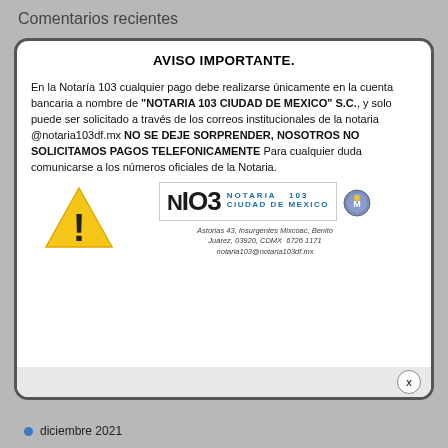Comentarios recientes
AVISO IMPORTANTE.
En la Notaría 103 cualquier pago debe realizarse únicamente en la cuenta bancaria a nombre de "NOTARIA 103 CIUDAD DE MEXICO" S.C., y solo puede ser solicitado a través de los correos institucionales de la notaria @notaria103df.mx NO SE DEJE SORPRENDER, NOSOTROS NO SOLICITAMOS PAGOS TELEFONICAMENTE Para cualquier duda comunicarse a los números oficiales de la Notaria.
[Figure (illustration): Yellow warning triangle with black exclamation mark]
[Figure (logo): Notaria 103 Ciudad de Mexico logo with N103 text and city seal, address: Astorias 43, Insurgentes Mixcoac, Benito Juárez, 03920, CDMX 6726 1171 notaria103@notaria103df.mx]
diciembre 2021